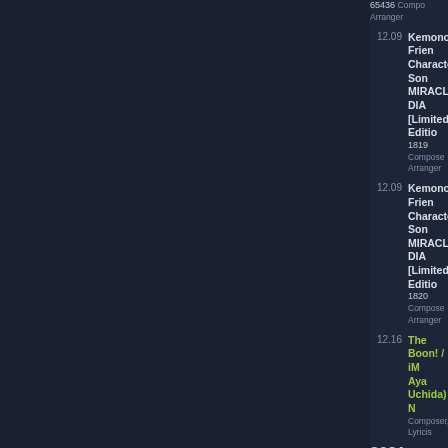65436 Composer, Arranger
12.09 Kemono Friends Character Song MIRACLE DIA [Limited Edition] 1819 Composer, Arranger
12.09 Kemono Friends Character Song MIRACLE DIA [Limited Edition] 1820 Composer, Arranger
12.16 The Boon! / iM... (Aya Uchida) N... Composer, Lyricist
2021
01.15 WORLD FLIP SONGS- CYR Instruments, Composer, Lyricist, Arranger
03.24 A3! EVER LAS [SPECIAL ED PCCG-02000
05.19 THE IDOLM@ CINDERELLA